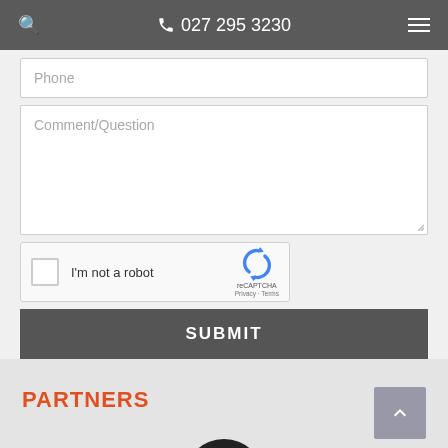027 295 3230
Phone
Comment/Question
[Figure (other): reCAPTCHA widget with checkbox 'I'm not a robot' and reCAPTCHA logo]
SUBMIT
PARTNERS